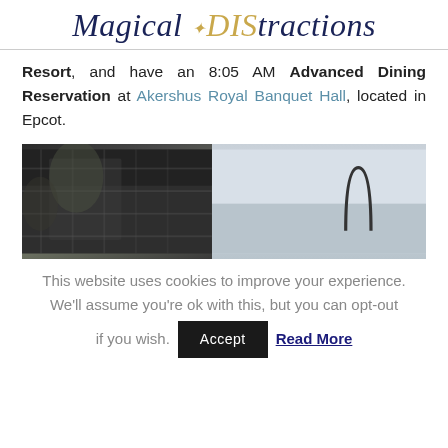Magical DIStractions
Resort, and have an 8:05 AM Advanced Dining Reservation at Akershus Royal Banquet Hall, located in Epcot.
[Figure (photo): Photo showing a dark stone castle/fortress structure on the left and a light grey sky with an arch shape on the right.]
This website uses cookies to improve your experience. We'll assume you're ok with this, but you can opt-out if you wish. Accept  Read More